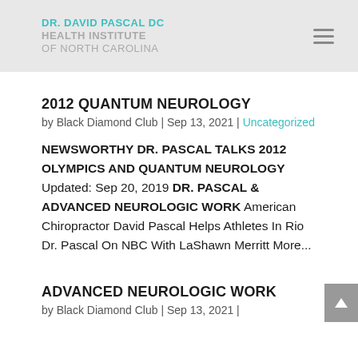DR. DAVID PASCAL DC HEALTH INSTITUTE OF NORTH CAROLINA
2012 QUANTUM NEUROLOGY
by Black Diamond Club | Sep 13, 2021 | Uncategorized
NEWSWORTHY DR. PASCAL TALKS 2012 OLYMPICS AND QUANTUM NEUROLOGY Updated: Sep 20, 2019 DR. PASCAL & ADVANCED NEUROLOGIC WORK American Chiropractor David Pascal Helps Athletes In Rio Dr. Pascal On NBC With LaShawn Merritt More...
ADVANCED NEUROLOGIC WORK
by Black Diamond Club | Sep 13, 2021 |